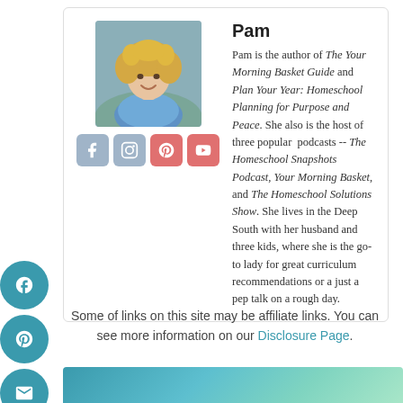Pam
Pam is the author of The Your Morning Basket Guide and Plan Your Year: Homeschool Planning for Purpose and Peace. She also is the host of three popular podcasts -- The Homeschool Snapshots Podcast, Your Morning Basket, and The Homeschool Solutions Show. She lives in the Deep South with her husband and three kids, where she is the go-to lady for great curriculum recommendations or a just a pep talk on a rough day.
[Figure (photo): Headshot photo of Pam, a woman with curly blonde hair smiling, wearing a blue patterned top, outdoors.]
Some of links on this site may be affiliate links. You can see more information on our Disclosure Page.